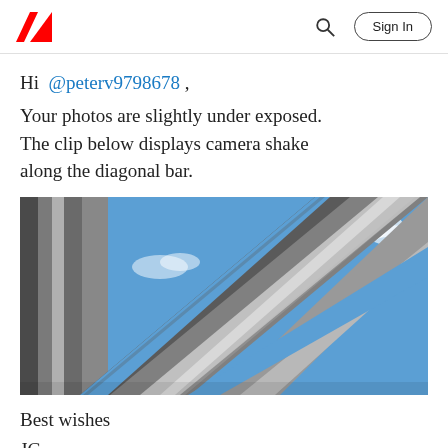Adobe — Sign In
Hi @peterv9798678 ,
Your photos are slightly under exposed. The clip below displays camera shake along the diagonal bar.
[Figure (photo): Close-up photograph of metal pipes/bars against a blue sky with white clouds, showing diagonal composition with motion blur/camera shake effect]
Best wishes
JG
Photographer and Nutrition Author